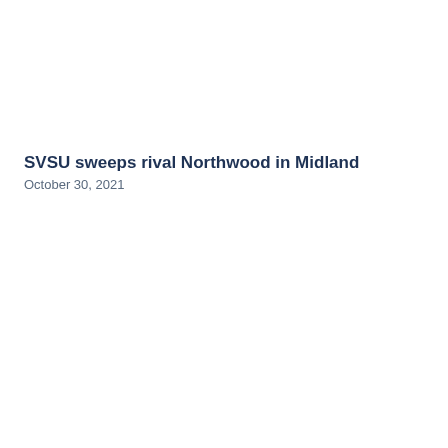SVSU sweeps rival Northwood in Midland
October 30, 2021